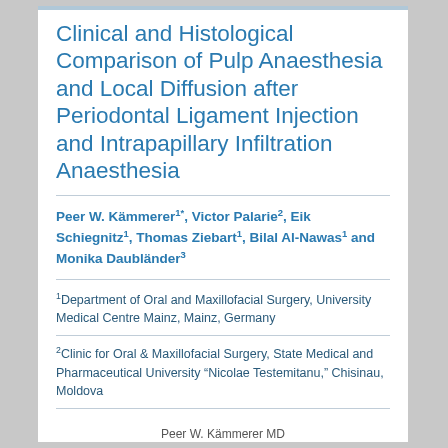Clinical and Histological Comparison of Pulp Anaesthesia and Local Diffusion after Periodontal Ligament Injection and Intrapapillary Infiltration Anaesthesia
Peer W. Kämmerer1*, Victor Palarie2, Eik Schiegnitz1, Thomas Ziebart1, Bilal Al-Nawas1 and Monika Daubländer3
1Department of Oral and Maxillofacial Surgery, University Medical Centre Mainz, Mainz, Germany
2Clinic for Oral & Maxillofacial Surgery, State Medical and Pharmaceutical University "Nicolae Testemitanu," Chisinau, Moldova
Peer W. Kämmerer MD